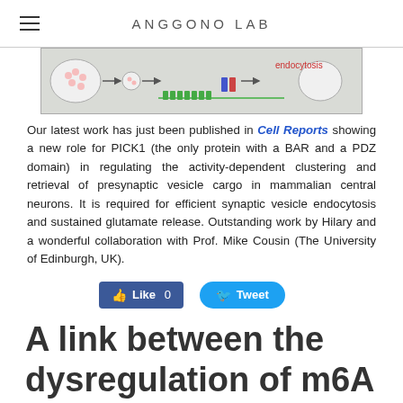ANGGONO LAB
[Figure (illustration): Diagram showing synaptic vesicle trafficking with arrows indicating endocytosis pathway. Depicts presynaptic neuron structures with vesicles, arrows, and colored protein complexes along the membrane. Label 'endocytosis' appears in red on the right.]
Our latest work has just been published in Cell Reports showing a new role for PICK1 (the only protein with a BAR and a PDZ domain) in regulating the activity-dependent clustering and retrieval of presynaptic vesicle cargo in mammalian central neurons. It is required for efficient synaptic vesicle endocytosis and sustained glutamate release. Outstanding work by Hilary and a wonderful collaboration with Prof. Mike Cousin (The University of Edinburgh, UK).
[Figure (other): Facebook Like button showing count 0 and Twitter Tweet button]
A link between the dysregulation of m6A